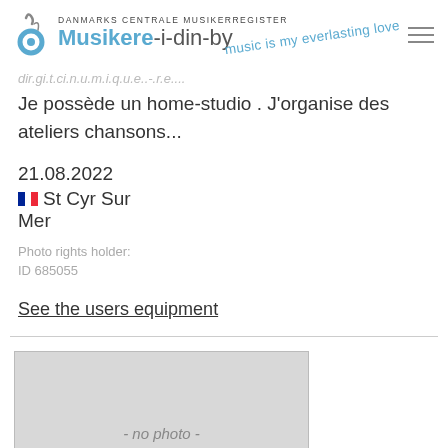DANMARKS CENTRALE MUSIKERREGISTER Musikere-i-din-by
music is my everlasting love
Je possède un home-studio . J'organise des ateliers chansons...
21.08.2022
St Cyr Sur Mer
Photo rights holder:
ID 685055
See the users equipment
[Figure (photo): No photo placeholder box with text '- no photo -']